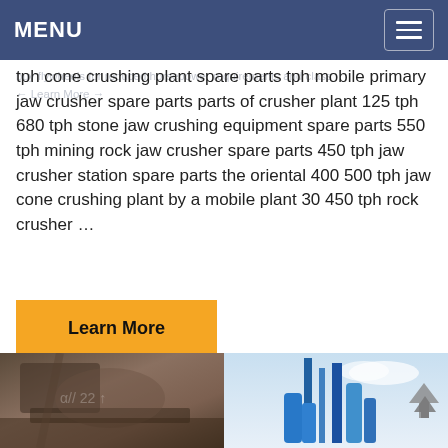MENU
tph cone crushing plant spare parts tph mobile primary jaw crusher spare parts parts of crusher plant 125 tph 680 tph stone jaw crushing equipment spare parts 550 tph mining rock jaw crusher spare parts 450 tph jaw crusher station spare parts the oriental 400 500 tph jaw cone crushing plant by a mobile plant 30 450 tph rock crusher …
Learn More
[Figure (photo): Industrial crusher/mining equipment close-up photo]
[Figure (photo): Industrial plant/tower equipment against blue sky]